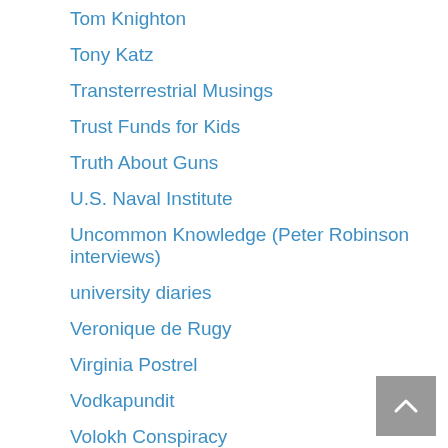Tom Knighton
Tony Katz
Transterrestrial Musings
Trust Funds for Kids
Truth About Guns
U.S. Naval Institute
Uncommon Knowledge (Peter Robinson interviews)
university diaries
Veronique de Rugy
Virginia Postrel
Vodkapundit
Volokh Conspiracy
voluntaryXchange